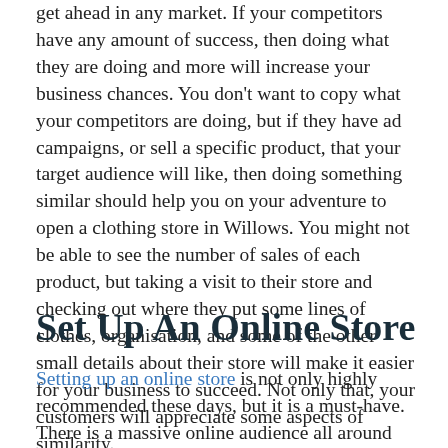get ahead in any market. If your competitors have any amount of success, then doing what they are doing and more will increase your business chances. You don't want to copy what your competitors are doing, but if they have ad campaigns, or sell a specific product, that your target audience will like, then doing something similar should help you on your adventure to open a clothing store in Willows. You might not be able to see the number of sales of each product, but taking a visit to their store and checking out where they put some lines of clothes, organisation, and some of the other small details about their store will make it easier for your business to succeed. Not only that, your customers will appreciate some aspects of similarity.
Set Up An Online Store
Setting up an online store is not only highly recommended these days, but it is a must-have. There is a massive online audience all around the world that you could reach. Having